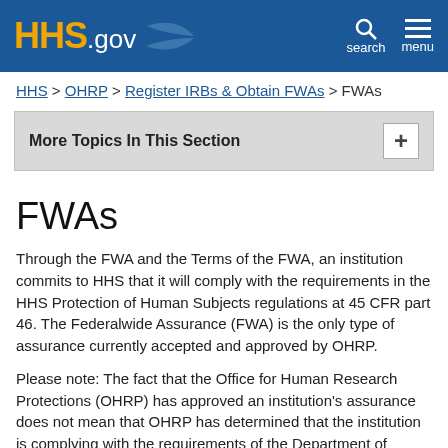HHS.gov — search — menu
HHS > OHRP > Register IRBs & Obtain FWAs > FWAs
More Topics In This Section
FWAs
Through the FWA and the Terms of the FWA, an institution commits to HHS that it will comply with the requirements in the HHS Protection of Human Subjects regulations at 45 CFR part 46. The Federalwide Assurance (FWA) is the only type of assurance currently accepted and approved by OHRP.
Please note: The fact that the Office for Human Research Protections (OHRP) has approved an institution's assurance does not mean that OHRP has determined that the institution is complying with the requirements of the Department of Health and